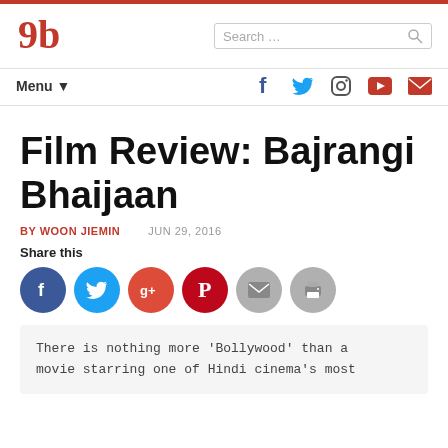Film Review: Bajrangi Bhaijaan - website header with logo, search, menu, and social icons
Film Review: Bajrangi Bhaijaan
BY WOON JIEMIN   JUN 29, 2016
Share this
[Figure (infographic): Row of social share buttons: Facebook (blue circle), Twitter (light blue circle), Google+ (red circle), Pinterest (dark red circle), Email (grey circle), Print (grey circle)]
There is nothing more ‘Bollywood’ than a movie starring one of Hindi cinema's most